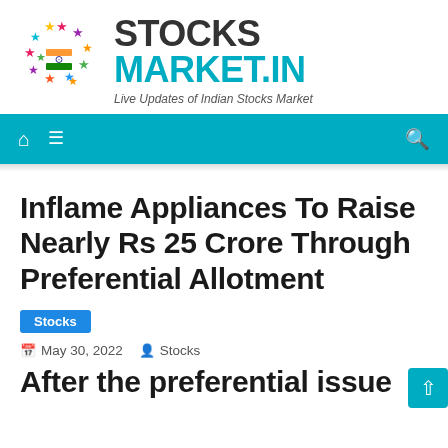[Figure (logo): StocksMarket.in logo with colorful stars and Indian flag, site name 'STOCKS MARKET.IN' and tagline 'Live Updates of Indian Stocks Market']
Navigation bar with home, menu, and search icons on teal background
Inflame Appliances To Raise Nearly Rs 25 Crore Through Preferential Allotment
Stocks
May 30, 2022  Stocks
After the preferential issue